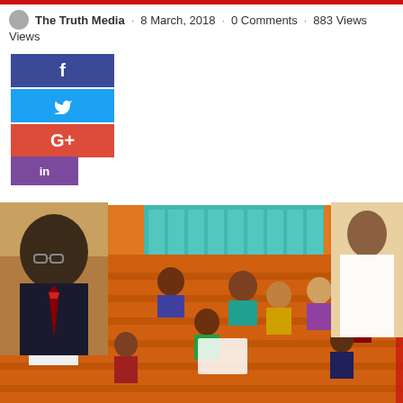The Truth Media · 8 March, 2018 · 0 Comments · 883 Views Views
[Figure (screenshot): Social sharing buttons: Facebook (dark blue), Twitter (blue), Google+ (red), LinkedIn (purple, partially visible)]
[Figure (photo): Left side: partial photo of an African man wearing glasses and a suit with tie]
[Figure (photo): Right side: partial photo of a man in white traditional attire]
[Figure (illustration): Cartoon/illustration of a Nigerian legislative chamber scene with a speaker holding a gavel, and many representatives in orange tiered seating, with a teal building facade at top]